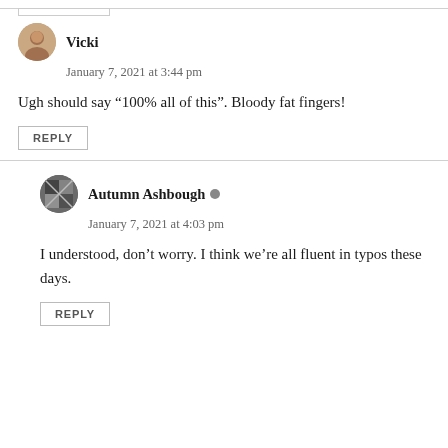[Figure (other): Partial reply button box from previous comment]
Vicki
January 7, 2021 at 3:44 pm
Ugh should say “100% all of this”. Bloody fat fingers!
REPLY
Autumn Ashbough
January 7, 2021 at 4:03 pm
I understood, don’t worry. I think we’re all fluent in typos these days.
REPLY